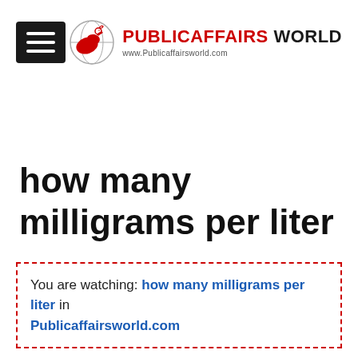[Figure (logo): PublicAffairs World logo with red bird/globe graphic and text 'PUBLICAFFAIRS WORLD' with URL www.Publicaffairsworld.com]
how many milligrams per liter
You are watching: how many milligrams per liter in Publicaffairsworld.com